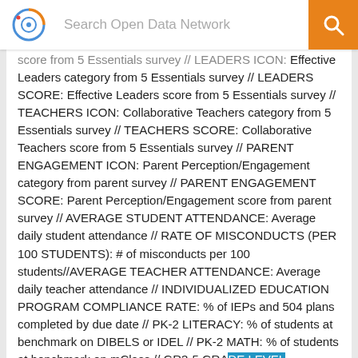Search Open Data Network
score from 5 Essentials survey // LEADERS ICON: Effective Leaders category from 5 Essentials survey // LEADERS SCORE: Effective Leaders score from 5 Essentials survey // TEACHERS ICON: Collaborative Teachers category from 5 Essentials survey // TEACHERS SCORE: Collaborative Teachers score from 5 Essentials survey // PARENT ENGAGEMENT ICON: Parent Perception/Engagement category from parent survey // PARENT ENGAGEMENT SCORE: Parent Perception/Engagement score from parent survey // AVERAGE STUDENT ATTENDANCE: Average daily student attendance // RATE OF MISCONDUCTS (PER 100 STUDENTS): # of misconducts per 100 students//AVERAGE TEACHER ATTENDANCE: Average daily teacher attendance // INDIVIDUALIZED EDUCATION PROGRAM COMPLIANCE RATE: % of IEPs and 504 plans completed by due date // PK-2 LITERACY: % of students at benchmark on DIBELS or IDEL // PK-2 MATH: % of students at benchmark on mClass // GR3-5 GRADE LEVEL...